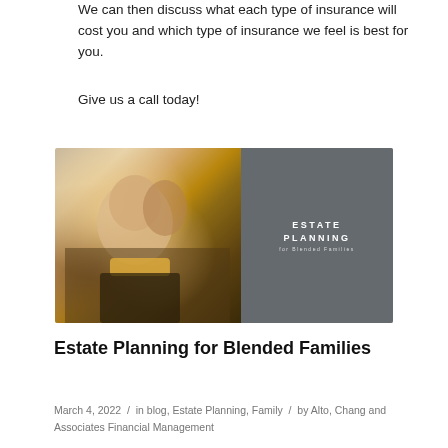We can then discuss what each type of insurance will cost you and which type of insurance we feel is best for you.
Give us a call today!
[Figure (photo): A smiling older man with grey hair carrying a young girl on his back, with a woman behind them, on a beach. The right half has a grey overlay with text reading ESTATE PLANNING for Blended Families.]
Estate Planning for Blended Families
March 4, 2022 / in blog, Estate Planning, Family / by Alto, Chang and Associates Financial Management